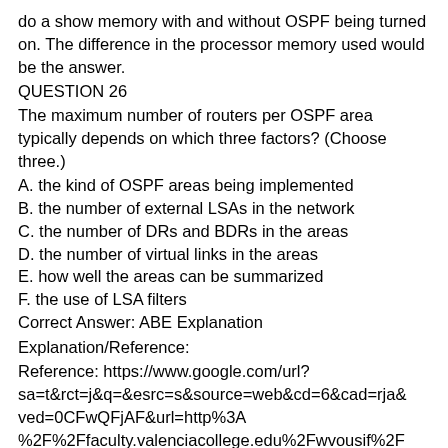do a show memory with and without OSPF being turned on. The difference in the processor memory used would be the answer.
QUESTION 26
The maximum number of routers per OSPF area typically depends on which three factors? (Choose three.)
A. the kind of OSPF areas being implemented
B. the number of external LSAs in the network
C. the number of DRs and BDRs in the areas
D. the number of virtual links in the areas
E. how well the areas can be summarized
F. the use of LSA filters
Correct Answer: ABE Explanation
Explanation/Reference:
Reference: https://www.google.com/url?sa=t&rct=j&q=&esrc=s&source=web&cd=6&cad=rja&ved=0CFwQFjAF&url=http%3A%2F%2Ffaculty.valenciacollege.edu%2Fwvousif%2F